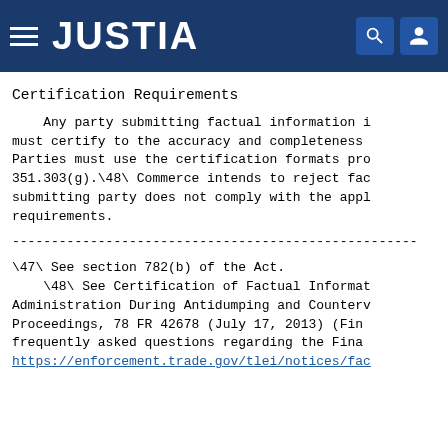JUSTIA
Certification Requirements
Any party submitting factual information i must certify to the accuracy and completeness Parties must use the certification formats pro 351.303(g).\48\ Commerce intends to reject fac submitting party does not comply with the appl requirements.
------------------------------------------------------------
\47\ See section 782(b) of the Act.
\48\ See Certification of Factual Informat Administration During Antidumping and Counterv Proceedings, 78 FR 42678 (July 17, 2013) (Fin frequently asked questions regarding the Fina https://enforcement.trade.gov/tlei/notices/fac